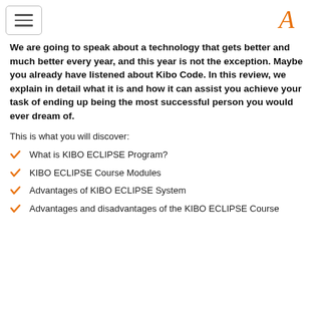[hamburger menu icon] [logo icon]
We are going to speak about a technology that gets better and much better every year, and this year is not the exception. Maybe you already have listened about Kibo Code. In this review, we explain in detail what it is and how it can assist you achieve your task of ending up being the most successful person you would ever dream of.
This is what you will discover:
What is KIBO ECLIPSE Program?
KIBO ECLIPSE Course Modules
Advantages of KIBO ECLIPSE System
Advantages and disadvantages of the KIBO ECLIPSE Course